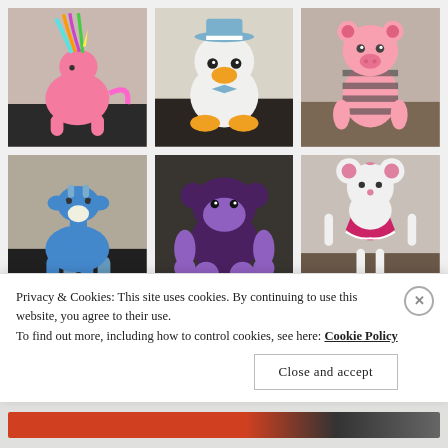[Figure (photo): Grid of 6 crocheted amigurumi toys: top row - pink unicorn with rainbow mane, white duck with sailor hat and yellow beak/feet, pink Piglet character; bottom row - blue crocheted giraffe, purple monkey, pink mouse in tutu dress]
[Figure (photo): Partial row of 3 more crocheted toy thumbnails, partially obscured by cookie banner]
Privacy & Cookies: This site uses cookies. By continuing to use this website, you agree to their use.
To find out more, including how to control cookies, see here: Cookie Policy
Close and accept